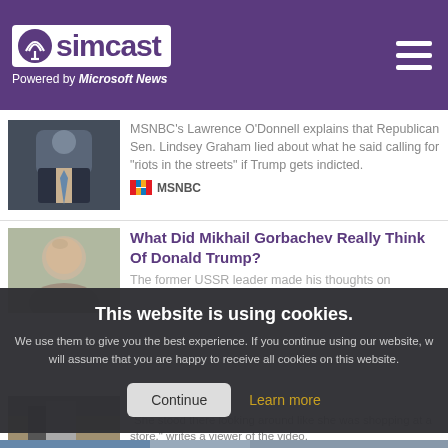[Figure (logo): Simcast logo with antenna icon on purple background. Text: Powered by Microsoft News]
[Figure (photo): Thumbnail of man in suit with tie, news anchor style]
MSNBC's Lawrence O'Donnell explains that Republican Sen. Lindsey Graham lied about what he said calling for “riots in the streets” if Trump gets indicted.
MSNBC
[Figure (photo): Thumbnail of elderly man, close-up face]
What Did Mikhail Gorbachev Really Think Of Donald Trump?
The former USSR leader made his thoughts on
This website is using cookies.
We use them to give you the best experience. If you continue using our website, we will assume that you are happy to receive all cookies on this website.
Continue   Learn more
[Figure (photo): Thumbnail of outdoor scene with construction/paving]
viewers
"She stood there looking around like she was shopping at a store," writes a viewer of the video.
TurboFuture
[Figure (photo): Bottom strip photo, partially visible]